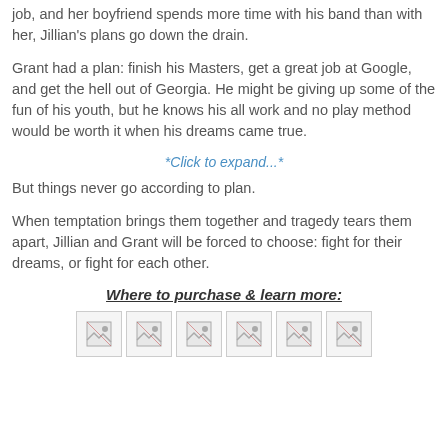job, and her boyfriend spends more time with his band than with her, Jillian's plans go down the drain.
Grant had a plan: finish his Masters, get a great job at Google, and get the hell out of Georgia. He might be giving up some of the fun of his youth, but he knows his all work and no play method would be worth it when his dreams came true.
*Click to expand...*
But things never go according to plan.
When temptation brings them together and tragedy tears them apart, Jillian and Grant will be forced to choose: fight for their dreams, or fight for each other.
Where to purchase & learn more:
[Figure (other): Six small broken/placeholder image icons arranged in a row]